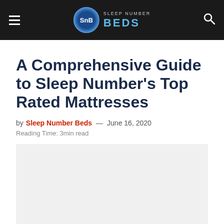Sleep Number Beds — Navigation header with logo
A Comprehensive Guide to Sleep Number's Top Rated Mattresses
by Sleep Number Beds — June 16, 2020
Reading Time: 3min read
[Figure (photo): Light grey image placeholder area for article featured image]